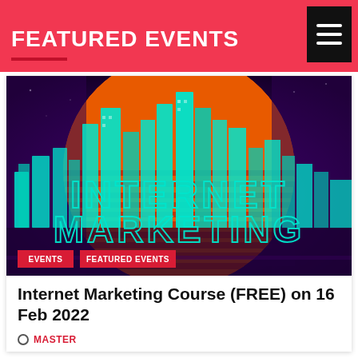FEATURED EVENTS
[Figure (illustration): Retro synthwave-style illustration showing a neon cityscape with 'INTERNET MARKETING' text in neon cyan letters, against a large orange striped sun on a purple background. Two red badge labels overlay the bottom: 'EVENTS' and 'FEATURED EVENTS'.]
Internet Marketing Course (FREE) on 16 Feb 2022
MASTER